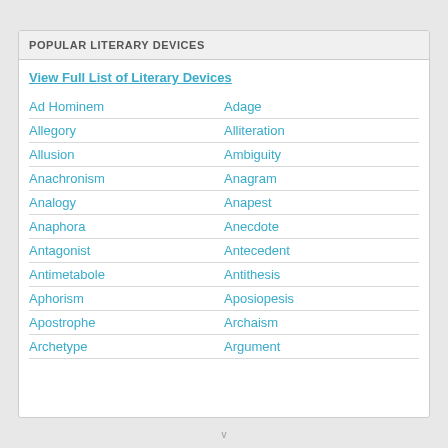POPULAR LITERARY DEVICES
View Full List of Literary Devices
Ad Hominem
Adage
Allegory
Alliteration
Allusion
Ambiguity
Anachronism
Anagram
Analogy
Anapest
Anaphora
Anecdote
Antagonist
Antecedent
Antimetabole
Antithesis
Aphorism
Aposiopesis
Apostrophe
Archaism
Archetype
Argument